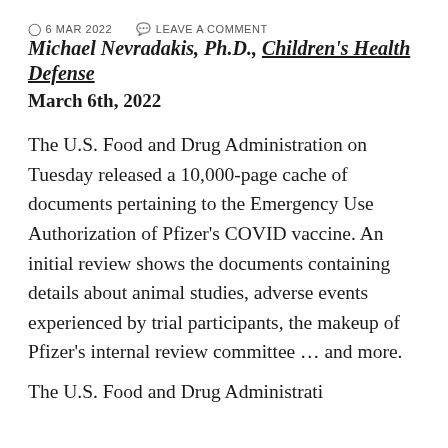© 6 MAR 2022   LEAVE A COMMENT
Michael Nevradakis, Ph.D., Children's Health Defense
March 6th, 2022
The U.S. Food and Drug Administration on Tuesday released a 10,000-page cache of documents pertaining to the Emergency Use Authorization of Pfizer's COVID vaccine. An initial review shows the documents containing details about animal studies, adverse events experienced by trial participants, the makeup of Pfizer's internal review committee … and more.
The U.S. Food and Drug Administration…